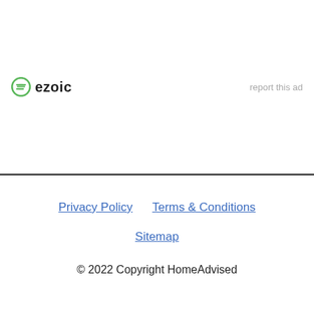[Figure (logo): Ezoic logo with green circle icon and bold 'ezoic' text, with 'report this ad' text on the right]
Privacy Policy   Terms & Conditions

Sitemap

© 2022 Copyright HomeAdvised